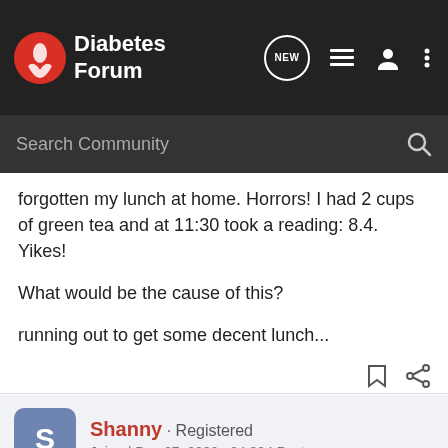Diabetes Forum
forgotten my lunch at home. Horrors! I had 2 cups of green tea and at 11:30 took a reading: 8.4. Yikes!
What would be the cause of this?
running out to get some decent lunch...
Shanny · Registered
Joined Dec 27, 2009 · 24,394 Posts
#2 · Dec 8, 2010
Did you brew the tea yourself or was it a bottled product? Any